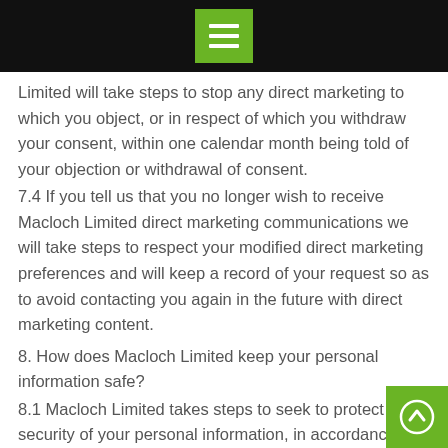Menu icon / navigation bar
Limited will take steps to stop any direct marketing to which you object, or in respect of which you withdraw your consent, within one calendar month being told of your objection or withdrawal of consent.
7.4 If you tell us that you no longer wish to receive Macloch Limited direct marketing communications we will take steps to respect your modified direct marketing preferences and will keep a record of your request so as to avoid contacting you again in the future with direct marketing content.
8. How does Macloch Limited keep your personal information safe?
8.1 Macloch Limited takes steps to seek to protect the security of your personal information, in accordance with our legal obligations, and as set out in our